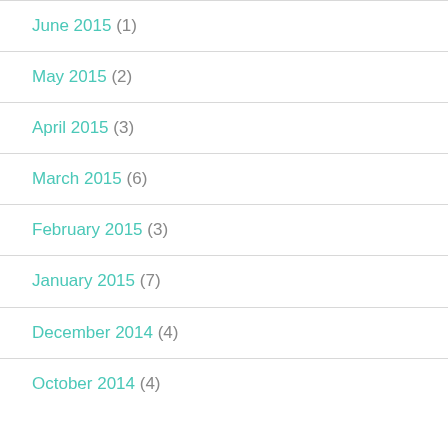June 2015 (1)
May 2015 (2)
April 2015 (3)
March 2015 (6)
February 2015 (3)
January 2015 (7)
December 2014 (4)
October 2014 (4)